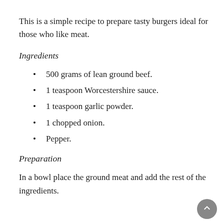This is a simple recipe to prepare tasty burgers ideal for those who like meat.
Ingredients
500 grams of lean ground beef.
1 teaspoon Worcestershire sauce.
1 teaspoon garlic powder.
1 chopped onion.
Pepper.
Preparation
In a bowl place the ground meat and add the rest of the ingredients.